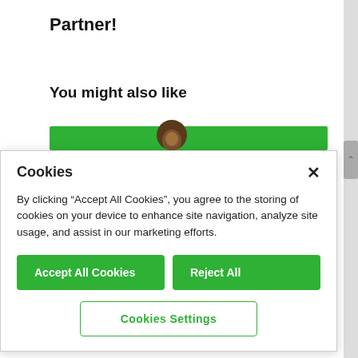Partner!
You might also like
[Figure (illustration): Green banner with avatar circle partially visible at top]
Cookies
By clicking “Accept All Cookies”, you agree to the storing of cookies on your device to enhance site navigation, analyze site usage, and assist in our marketing efforts.
Accept All Cookies
Reject All
Cookies Settings